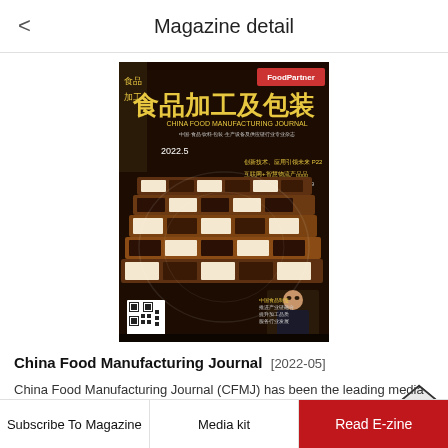Magazine detail
[Figure (photo): Magazine cover of China Food Manufacturing Journal 2022-05, dark background with stacked chocolate bars and Chinese text]
China Food Manufacturing Journal [2022-05]
China Food Manufacturing Journal (CFMJ) has been the leading media for China food & beverage industry for 15 years. The magazine, in a strategic editorial partnership with Food Processing and Food Quality and Safety of the US, has served decision makers involved in processing, packaging and
Subscribe To Magazine   Media kit   Read E-zine